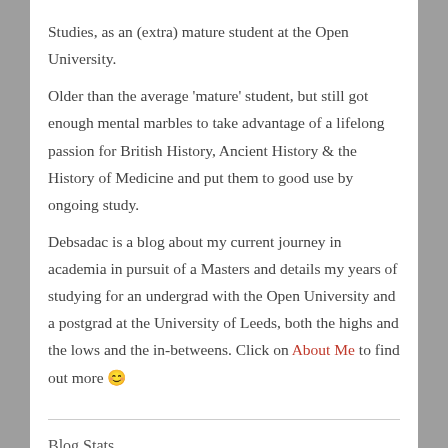Studies, as an (extra) mature student at the Open University.
Older than the average ‘mature’ student, but still got enough mental marbles to take advantage of a lifelong passion for British History, Ancient History & the History of Medicine and put them to good use by ongoing study.
Debsadac is a blog about my current journey in academia in pursuit of a Masters and details my years of studying for an undergrad with the Open University and a postgrad at the University of Leeds, both the highs and the lows and the in-betweens. Click on About Me to find out more 😊
Blog Stats